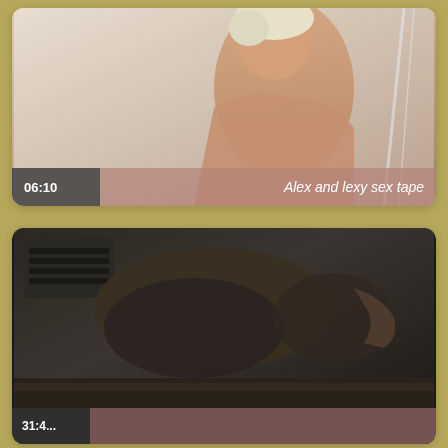[Figure (photo): Video thumbnail card 1: woman with short blonde hair, upper body, against light background. Overlay shows duration '06:10' and title 'Alex and lexy sex tape']
[Figure (photo): Video thumbnail card 2: dark scene with figures on a bed. Duration overlay partially visible at bottom.]